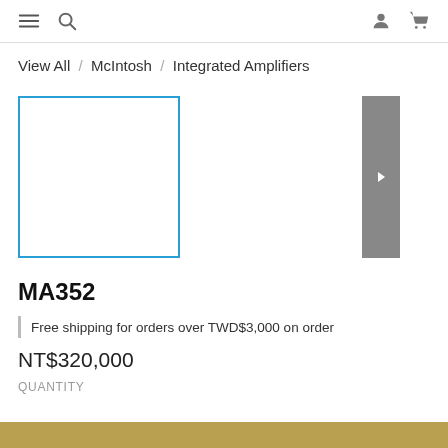Navigation bar with menu, search, user, and cart icons
View All / McIntosh / Integrated Amplifiers
[Figure (photo): Product image placeholder — white box with blue border, gray navigation arrow on right]
MA352
Free shipping for orders over TWD$3,000 on order
NT$320,000
QUANTITY